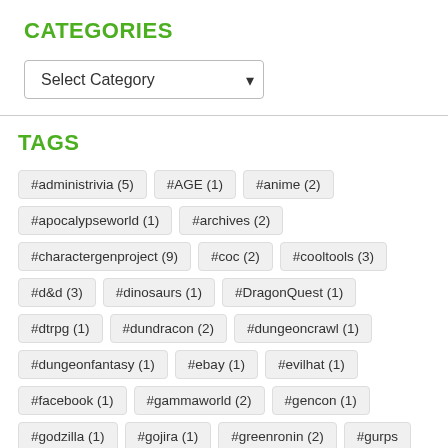CATEGORIES
[Figure (screenshot): A dropdown select box labeled 'Select Category' with a chevron arrow on the right]
TAGS
#administrivia (5)
#AGE (1)
#anime (2)
#apocalypseworld (1)
#archives (2)
#charactergenproject (9)
#coc (2)
#cooltools (3)
#d&d (3)
#dinosaurs (1)
#DragonQuest (1)
#dtrpg (1)
#dundracon (2)
#dungeoncrawl (1)
#dungeonfantasy (1)
#ebay (1)
#evilhat (1)
#facebook (1)
#gammaworld (2)
#gencon (1)
#godzilla (1)
#gojira (1)
#greenronin (2)
#gurps (1)
#herculoids (1)
#herolab (5)
#highfantasy